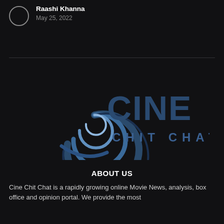Raashi Khanna
May 25, 2022
[Figure (logo): Cine Chit Chat logo: a stylized circular 'C' emblem in dark blue metallic tones followed by the text 'CINE' in large bold letters and 'CHIT CHAT' in spaced smaller letters below, all in dark blue/steel color on dark background]
ABOUT US
Cine Chit Chat is a rapidly growing online Movie News, analysis, box office and opinion portal. We provide the most